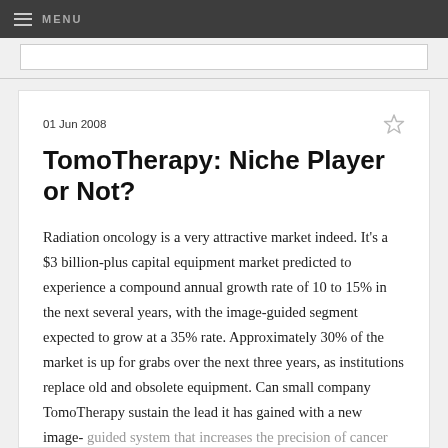≡ MENU
01 Jun 2008
TomoTherapy: Niche Player or Not?
Radiation oncology is a very attractive market indeed. It's a $3 billion-plus capital equipment market predicted to experience a compound annual growth rate of 10 to 15% in the next several years, with the image-guided segment expected to grow at a 35% rate. Approximately 30% of the market is up for grabs over the next three years, as institutions replace old and obsolete equipment. Can small company TomoTherapy sustain the lead it has gained with a new image-guided system that increases the precision of cancer